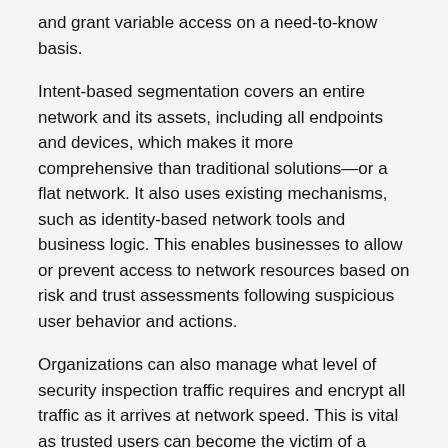and grant variable access on a need-to-know basis.
Intent-based segmentation covers an entire network and its assets, including all endpoints and devices, which makes it more comprehensive than traditional solutions—or a flat network. It also uses existing mechanisms, such as identity-based network tools and business logic. This enables businesses to allow or prevent access to network resources based on risk and trust assessments following suspicious user behavior and actions.
Organizations can also manage what level of security inspection traffic requires and encrypt all traffic as it arrives at network speed. This is vital as trusted users can become the victim of a malware attack without knowing it and provide a route into the network for hackers.
Network Segmentation and the Zero-trust Model